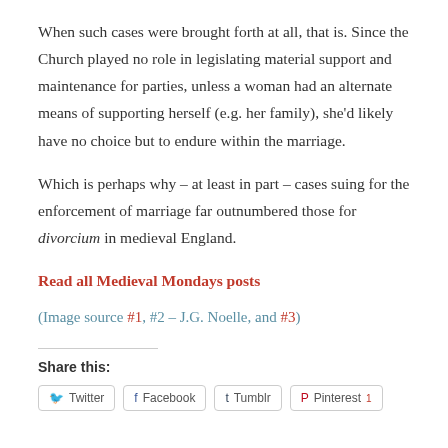When such cases were brought forth at all, that is. Since the Church played no role in legislating material support and maintenance for parties, unless a woman had an alternate means of supporting herself (e.g. her family), she'd likely have no choice but to endure within the marriage.
Which is perhaps why – at least in part – cases suing for the enforcement of marriage far outnumbered those for divorcium in medieval England.
Read all Medieval Mondays posts
(Image source #1, #2 – J.G. Noelle, and #3)
Share this: